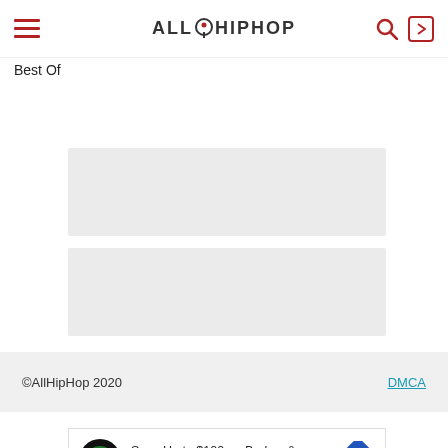ALLHIPHOP
Best Of
[Figure (other): Gray placeholder rectangle 1]
[Figure (other): Gray placeholder rectangle 2]
©AllHipHop 2020   DMCA
[Figure (infographic): Advertisement: Save Up to $100 on Brakes & Rotors at Virginia Tire & Auto]